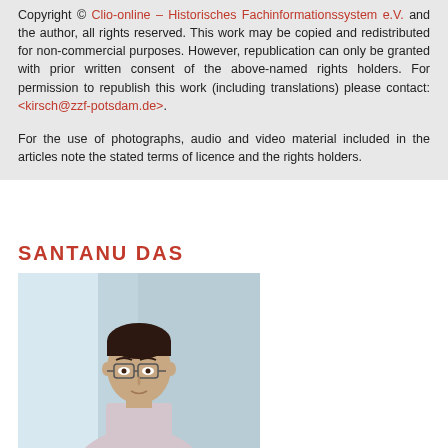Copyright © Clio-online – Historisches Fachinformationssystem e.V. and the author, all rights reserved. This work may be copied and redistributed for non-commercial purposes. However, republication can only be granted with prior written consent of the above-named rights holders. For permission to republish this work (including translations) please contact: <kirsch@zzf-potsdam.de>.
For the use of photographs, audio and video material included in the articles note the stated terms of licence and the rights holders.
SANTANU DAS
[Figure (photo): Portrait photograph of Santanu Das, a man wearing glasses and a light-colored shirt, in an office or indoor setting with natural light background.]